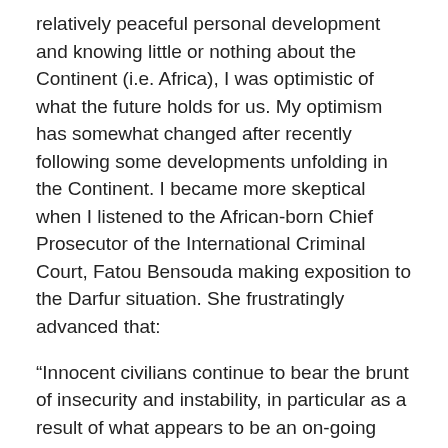relatively peaceful personal development and knowing little or nothing about the Continent (i.e. Africa), I was optimistic of what the future holds for us. My optimism has somewhat changed after recently following some developments unfolding in the Continent. I became more skeptical when I listened to the African-born Chief Prosecutor of the International Criminal Court, Fatou Bensouda making exposition to the Darfur situation. She frustratingly advanced that:
“Innocent civilians continue to bear the brunt of insecurity and instability, in particular as a result of what appears to be an on-going government campaign to target them. The people alleged to be most responsible for these on-going atrocities are the same people against whom warrants of arrest have already been issued.”